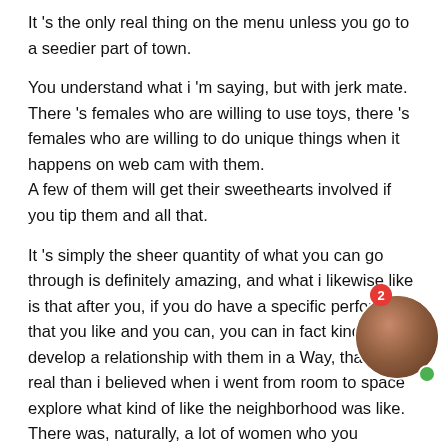It 's the only real thing on the menu unless you go to a seedier part of town.
You understand what i 'm saying, but with jerk mate.
There 's females who are willing to use toys, there 's females who are willing to do unique things when it happens on web cam with them.
A few of them will get their sweethearts involved if you tip them and all that.
It 's simply the sheer quantity of what you can go through is definitely amazing, and what i likewise like is that after you, if you do have a specific performer that you like and you can, you can in fact kind of develop a relationship with them in a Way, that more real than i believed when i went from room to space explore what kind of like the neighborhood was like.
There was, naturally, a lot of women who you understand were simply speaking to their fans and kind of gassing them up, clearly
[Figure (photo): Circular profile thumbnail with a notification badge showing '2' and a green online indicator dot]